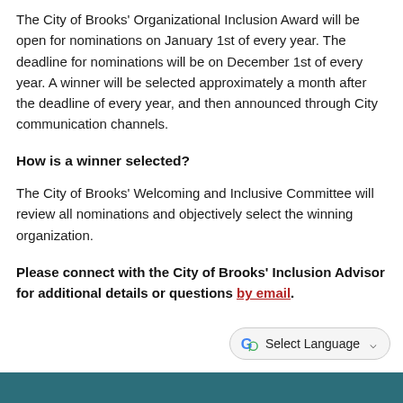The City of Brooks' Organizational Inclusion Award will be open for nominations on January 1st of every year. The deadline for nominations will be on December 1st of every year. A winner will be selected approximately a month after the deadline of every year, and then announced through City communication channels.
How is a winner selected?
The City of Brooks' Welcoming and Inclusive Committee will review all nominations and objectively select the winning organization.
Please connect with the City of Brooks' Inclusion Advisor for additional details or questions by email.